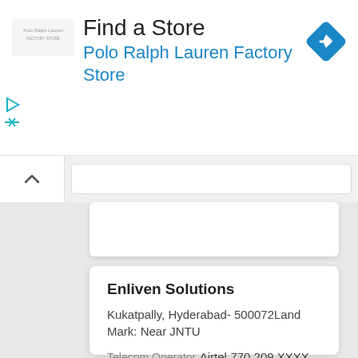Find a Store
Polo Ralph Lauren Factory Store
Enliven Solutions
Kukatpally, Hyderabad- 500072Land Mark: Near JNTU
Telecom Operator
Airtel
770 209 XXXX
View Details